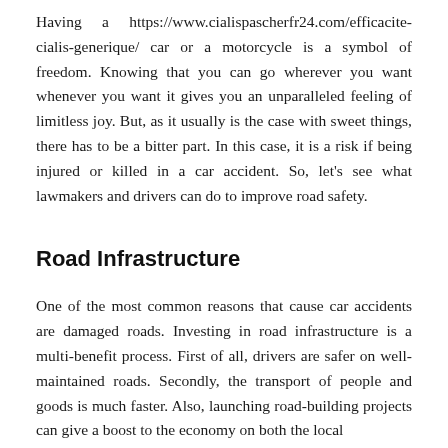Having a https://www.cialispascherfr24.com/efficacite-cialis-generique/ car or a motorcycle is a symbol of freedom. Knowing that you can go wherever you want whenever you want it gives you an unparalleled feeling of limitless joy. But, as it usually is the case with sweet things, there has to be a bitter part. In this case, it is a risk if being injured or killed in a car accident. So, let's see what lawmakers and drivers can do to improve road safety.
Road Infrastructure
One of the most common reasons that cause car accidents are damaged roads. Investing in road infrastructure is a multi-benefit process. First of all, drivers are safer on well-maintained roads. Secondly, the transport of people and goods is much faster. Also, launching road-building projects can give a boost to the economy on both the local